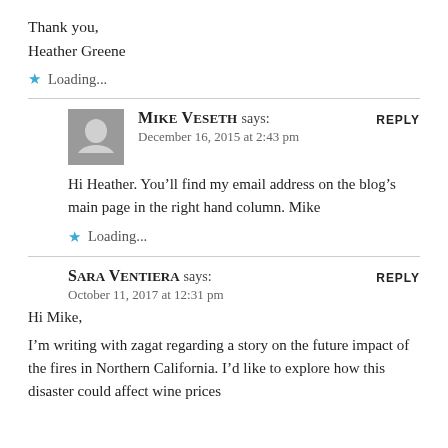Thank you,
Heather Greene
Loading...
Mike Veseth says:
December 16, 2015 at 2:43 pm
Hi Heather. You’ll find my email address on the blog’s main page in the right hand column. Mike
Loading...
Sara Ventiera says:
October 11, 2017 at 12:31 pm
Hi Mike,
I’m writing with zagat regarding a story on the future impact of the fires in Northern California. I’d like to explore how this disaster could affect wine prices